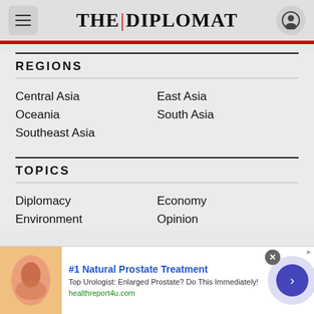THE DIPLOMAT
REGIONS
Central Asia
East Asia
Oceania
South Asia
Southeast Asia
TOPICS
Diplomacy
Economy
Environment
Opinion
[Figure (other): Advertisement banner: #1 Natural Prostate Treatment - Top Urologist: Enlarged Prostate? Do This Immediately! healthreport4u.com]